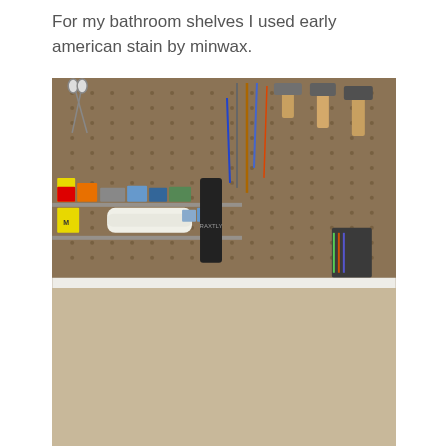For my bathroom shelves I used early american stain by minwax.
[Figure (photo): Workshop pegboard covered in tools (scissors, hammers, pliers, clamps, screwdrivers, etc.) with shelves holding supplies. Below is a wooden board/shelf plank resting on paint can lid holders on brown paper, with a can of Minwax Wood Finish stain in the foreground.]